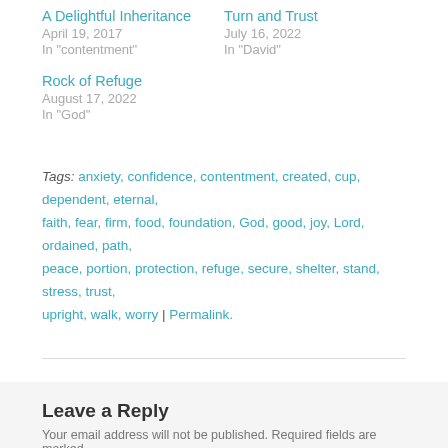A Delightful Inheritance
April 19, 2017
In "contentment"
Turn and Trust
July 16, 2022
In "David"
Rock of Refuge
August 17, 2022
In "God"
Tags: anxiety, confidence, contentment, created, cup, dependent, eternal, faith, fear, firm, food, foundation, God, good, joy, Lord, ordained, path, peace, portion, protection, refuge, secure, shelter, stand, stress, trust, upright, walk, worry | Permalink.
Leave a Reply
Your email address will not be published. Required fields are marked